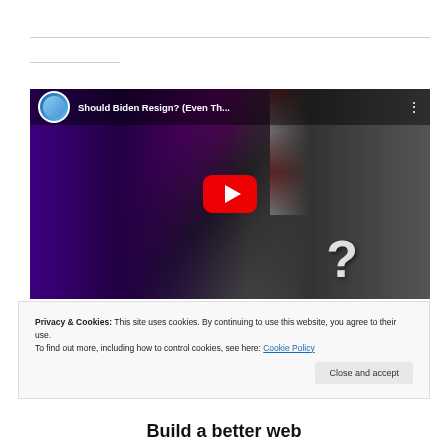[Figure (screenshot): YouTube video thumbnail showing 'Should Biden Resign? (Even Th...' with a long-haired man in suit on left and Biden at podium on right, with red YouTube play button and question mark overlay]
Privacy & Cookies: This site uses cookies. By continuing to use this website, you agree to their use.
To find out more, including how to control cookies, see here: Cookie Policy
Close and accept
Build a better web